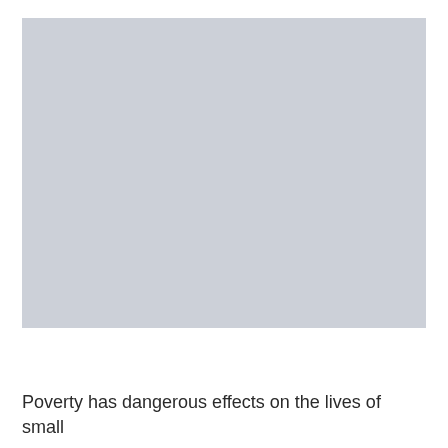[Figure (photo): A large gray placeholder image occupying the upper portion of the page.]
Poverty has dangerous effects on the lives of small